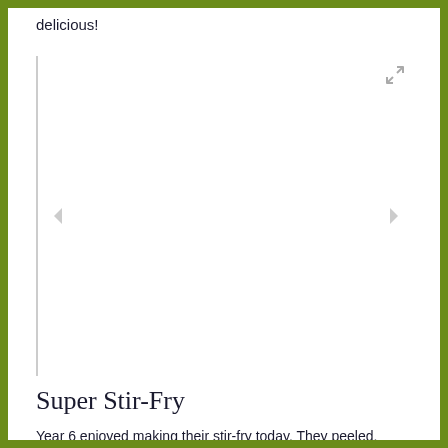delicious!
[Figure (photo): Image slideshow area with navigation arrows and expand icon, currently showing a blank/white image panel with a left border accent]
Super Stir-Fry
Year 6 enjoyed making their stir-fry today. They peeled, chopped, sliced, diced and grated different vegetables and enjoyed cooking their stir-fry. After, they enjoyed the